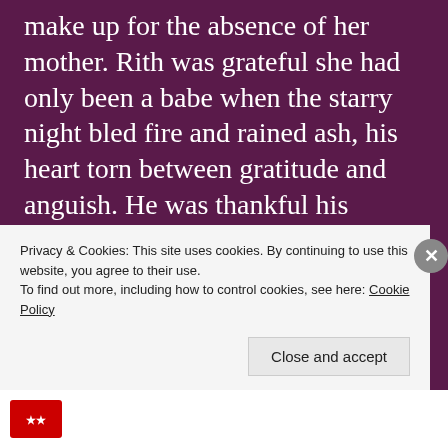make up for the absence of her mother. Rith was grateful she had only been a babe when the starry night bled fire and rained ash, his heart torn between gratitude and anguish. He was thankful his precious child would not be tormented by dreams of Damanta's dead eyes as she descended into the valley of caves, burning over half the villagers alive as the rest watched in confusion and horror. No one above ground saw it coming, with such a simple life going on as usual. They had their
Privacy & Cookies: This site uses cookies. By continuing to use this website, you agree to their use.
To find out more, including how to control cookies, see here: Cookie Policy
Close and accept